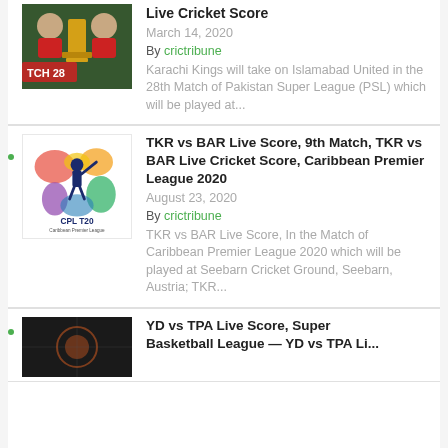[Figure (photo): PSL match thumbnail showing two cricket players and a trophy, with text 'TCH 28' overlay on dark green background]
Live Cricket Score
March 14, 2020
By crictribune
Karachi Kings will take on Islamabad United in the 28th Match of Pakistan Super League (PSL) which will be played at...
[Figure (logo): CPL T20 Caribbean Premier League 2020 logo with colorful cricket player silhouette]
TKR vs BAR Live Score, 9th Match, TKR vs BAR Live Cricket Score, Caribbean Premier League 2020
August 23, 2020
By crictribune
TKR vs BAR Live Score, In the Match of Caribbean Premier League 2020 which will be played at Seebarn Cricket Ground, Seebarn, Austria; TKR...
[Figure (photo): YD vs TPA match thumbnail, partial view]
YD vs TPA Live Score, Super Basketball League — YD vs TPA Li...